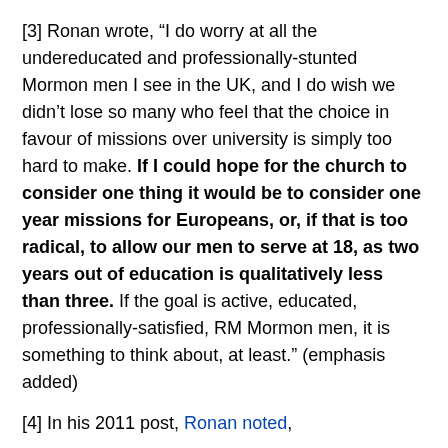[3] Ronan wrote, “I do worry at all the undereducated and professionally-stunted Mormon men I see in the UK, and I do wish we didn’t lose so many who feel that the choice in favour of missions over university is simply too hard to make. If I could hope for the church to consider one thing it would be to consider one year missions for Europeans, or, if that is too radical, to allow our men to serve at 18, as two years out of education is qualitatively less than three. If the goal is active, educated, professionally-satisfied, RM Mormon men, it is something to think about, at least.” (emphasis added)
[4] In his 2011 post, Ronan noted,
In relating some of these costs, I am aware that I am